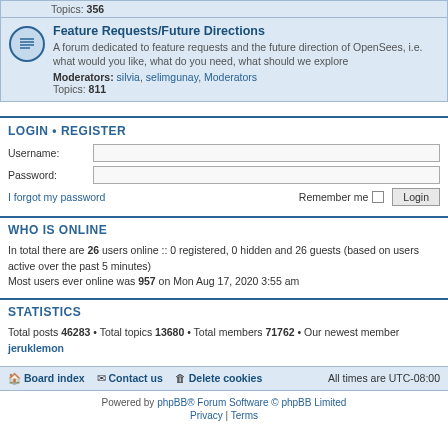Topics: 356
Feature Requests/Future Directions
A forum dedicated to feature requests and the future direction of OpenSees, i.e. what would you like, what do you need, what should we explore
Moderators: silvia, selimgunay, Moderators
Topics: 811
LOGIN • REGISTER
Username:
Password:
I forgot my password
Remember me  Login
WHO IS ONLINE
In total there are 26 users online :: 0 registered, 0 hidden and 26 guests (based on users active over the past 5 minutes)
Most users ever online was 957 on Mon Aug 17, 2020 3:55 am
STATISTICS
Total posts 46283 • Total topics 13680 • Total members 71762 • Our newest member jeruklemon
Board index  Contact us  Delete cookies  All times are UTC-08:00
Powered by phpBB® Forum Software © phpBB Limited
Privacy | Terms